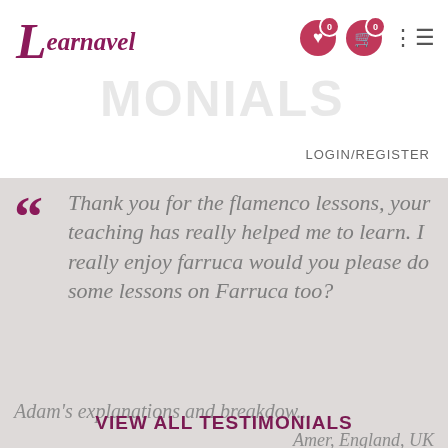Learnavel
LOGIN/REGISTER
TESTIMONIALS
"Thank you for the flamenco lessons, your teaching has really helped me to learn. I really enjoy farruca would you please do some lessons on Farruca too?
Adam's explanations and breakdow...
Amer, England, UK
VIEW ALL TESTIMONIALS